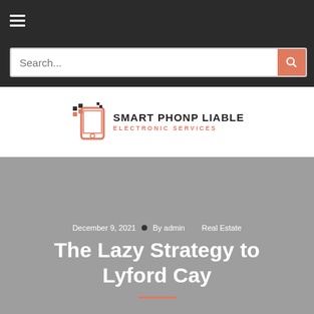Navigation bar with hamburger menu
Search...
[Figure (logo): Smart Phonp Liable Electronic Services logo with phone icon and pixel dots]
December 9, 2021  By admin   Real Estate
The Lazy Strategy to Lyford Cay